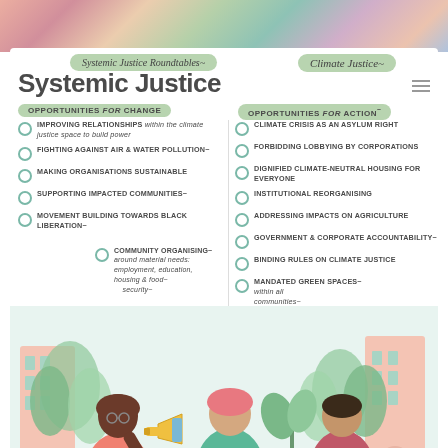Systemic Justice Roundtables | Climate Justice
Systemic Justice
OPPORTUNITIES for CHANGE
OPPORTUNITIES for ACTION
IMPROVING RELATIONSHIPS within the climate justice space to build power
FIGHTING AGAINST AIR & WATER POLLUTION
MAKING ORGANISATIONS SUSTAINABLE
SUPPORTING IMPACTED COMMUNITIES
MOVEMENT BUILDING TOWARDS BLACK LIBERATION
COMMUNITY ORGANISING around material needs: employment, education, housing & food security
CLIMATE CRISIS AS AN ASYLUM RIGHT
FORBIDDING LOBBYING BY CORPORATIONS
DIGNIFIED CLIMATE-NEUTRAL HOUSING FOR EVERYONE
INSTITUTIONAL REORGANISING
ADDRESSING IMPACTS ON AGRICULTURE
GOVERNMENT & CORPORATE ACCOUNTABILITY
BINDING RULES ON CLIMATE JUSTICE
MANDATED GREEN SPACES within all communities
[Figure (illustration): Illustrated scene with three diverse people standing in an urban green landscape with buildings in background. A person holding a megaphone, a person in green sweater, and a person in red top.]